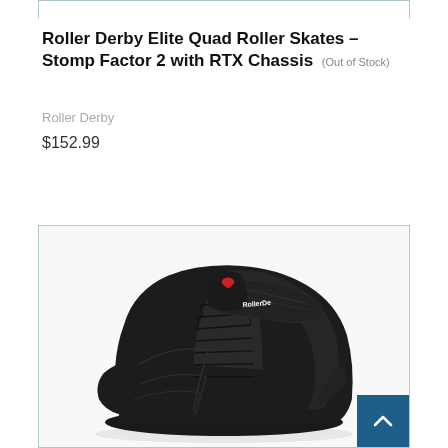Roller Derby Elite Quad Roller Skates – Stomp Factor 2 with RTX Chassis (Out of Stock)
Roller Derby
$152.99
[Figure (photo): Black Roller Derby roller skate boot, high-top style with laces, velcro strap, and Roller Derby logo on the tongue. Photographed from the side against a white background.]